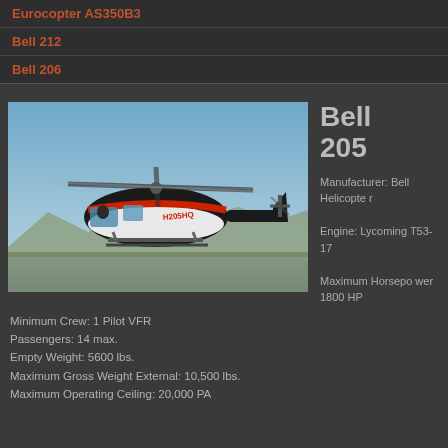Eurocopter AS350B3
Bell 212
Bell 206
Bell 205
[Figure (photo): Bell 205 helicopter in flight, white and red/black paint scheme, registration H205HQ, flying over mountainous terrain with blue sky background]
Manufacturer: Bell Helicopter
Engine: Lycoming T53-17
Maximum Horsepower 1800 HP
Minimum Crew: 1 Pilot VFR
Passengers: 14 max.
Empty Weight: 5600 lbs.
Maximum Gross Weight External: 10,500 lbs.
Maximum Operating Ceiling: 20,000 PA